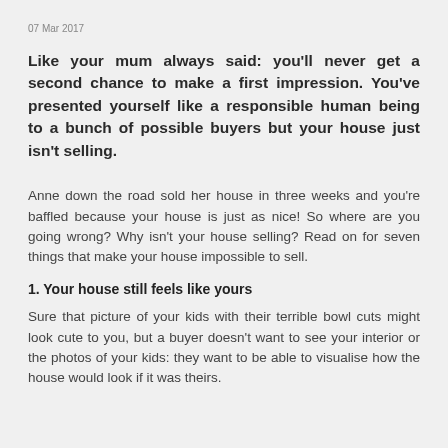07 Mar 2017
Like your mum always said: you’ll never get a second chance to make a first impression. You’ve presented yourself like a responsible human being to a bunch of possible buyers but your house just isn’t selling.
Anne down the road sold her house in three weeks and you’re baffled because your house is just as nice! So where are you going wrong? Why isn’t your house selling? Read on for seven things that make your house impossible to sell.
1. Your house still feels like yours
Sure that picture of your kids with their terrible bowl cuts might look cute to you, but a buyer doesn’t want to see your interior or the photos of your kids: they want to be able to visualise how the house would look if it was theirs.